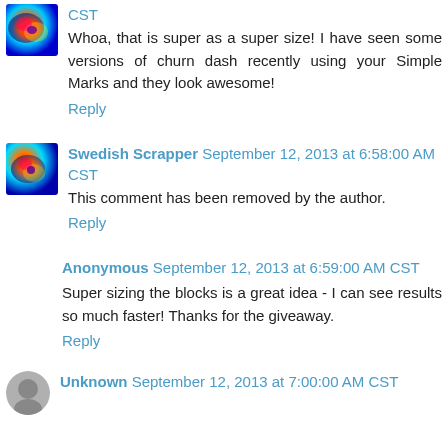CST
Whoa, that is super as a super size! I have seen some versions of churn dash recently using your Simple Marks and they look awesome!
Reply
Swedish Scrapper  September 12, 2013 at 6:58:00 AM CST
This comment has been removed by the author.
Reply
Anonymous  September 12, 2013 at 6:59:00 AM CST
Super sizing the blocks is a great idea - I can see results so much faster! Thanks for the giveaway.
Reply
Unknown  September 12, 2013 at 7:00:00 AM CST